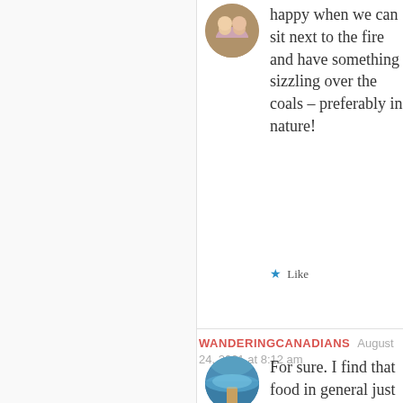[Figure (photo): Circular avatar photo of two people outdoors]
Thank you. Yes, we're very happy when we can sit next to the fire and have something sizzling over the coals – preferably in nature!
Like
WANDERINGCANADIANS  August 24, 2021 at 8:12 am
[Figure (photo): Circular avatar photo of a lake with a canoe from above]
For sure. I find that food in general just taste so much better when camping. It's always a real treat to eat outside and just enjoy our surroundings.
Liked by 1 person